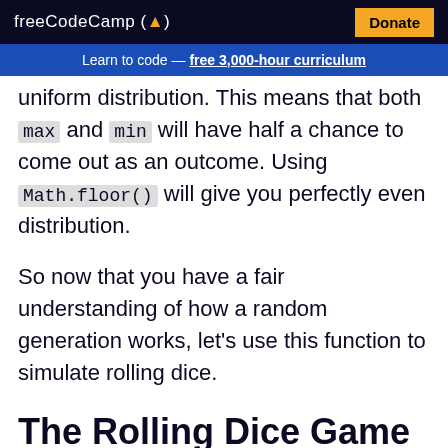freeCodeCamp(🔥)  Donate
Learn to code — free 3,000-hour curriculum
uniform distribution. This means that both max and min will have half a chance to come out as an outcome. Using Math.floor() will give you perfectly even distribution.
So now that you have a fair understanding of how a random generation works, let's use this function to simulate rolling dice.
The Rolling Dice Game
In this section, we will create a really simple mini dice game. Two players enter their name and will